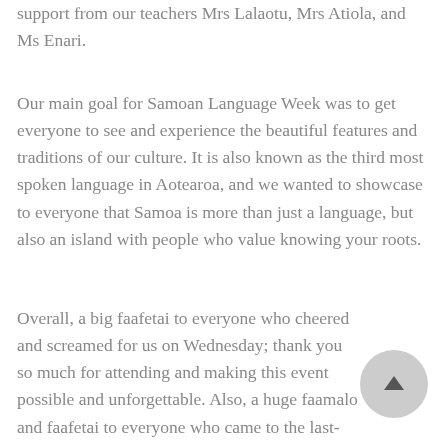support from our teachers Mrs Lalaotu, Mrs Atiola, and Ms Enari.
Our main goal for Samoan Language Week was to get everyone to see and experience the beautiful features and traditions of our culture. It is also known as the third most spoken language in Aotearoa, and we wanted to showcase to everyone that Samoa is more than just a language, but also an island with people who value knowing your roots.
Overall, a big faafetai to everyone who cheered and screamed for us on Wednesday; thank you so much for attending and making this event possible and unforgettable. Also, a huge faamalo and faafetai to everyone who came to the last-minute practice after school,